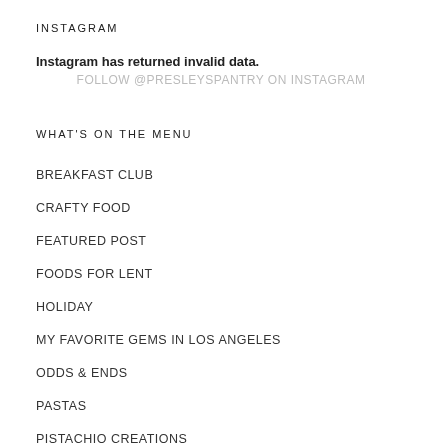INSTAGRAM
Instagram has returned invalid data.
FOLLOW @PRESLEYSPANTRY ON INSTAGRAM
WHAT'S ON THE MENU
BREAKFAST CLUB
CRAFTY FOOD
FEATURED POST
FOODS FOR LENT
HOLIDAY
MY FAVORITE GEMS IN LOS ANGELES
ODDS & ENDS
PASTAS
PISTACHIO CREATIONS
PRESLEY'S PANADERIA "BAKERY"